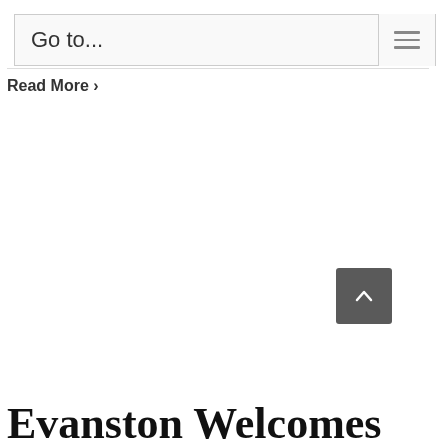Go to...
Read More >
[Figure (other): Back to top button with upward chevron arrow on dark gray background]
Evanston Welcomes